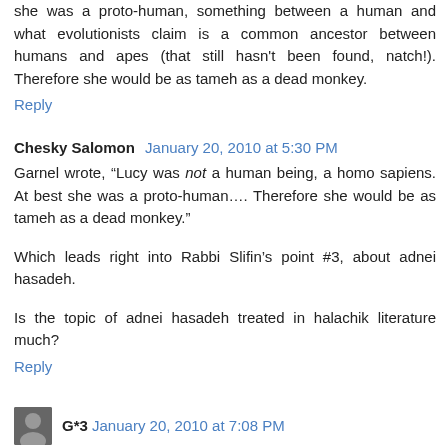she was a proto-human, something between a human and what evolutionists claim is a common ancestor between humans and apes (that still hasn't been found, natch!). Therefore she would be as tameh as a dead monkey.
Reply
Chesky Salomon  January 20, 2010 at 5:30 PM
Garnel wrote, “Lucy was not a human being, a homo sapiens. At best she was a proto-human…. Therefore she would be as tameh as a dead monkey.”
Which leads right into Rabbi Slifin’s point #3, about adnei hasadeh.
Is the topic of adnei hasadeh treated in halachik literature much?
Reply
G*3  January 20, 2010 at 7:08 PM